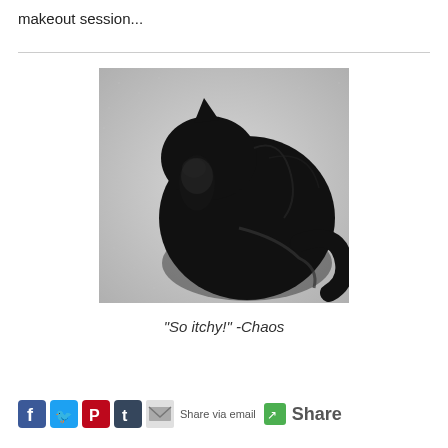makeout session...
[Figure (photo): Black and white photograph of a black cat grooming itself, licking its paw while curled up on a light carpet, viewed from above.]
“So itchy!” -Chaos
Share via email  Share